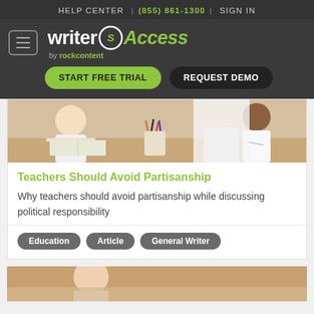HELP CENTER | (855) 861-1300 | SIGN IN
[Figure (logo): WriterAccess by rockcontent logo with hamburger menu, START FREE TRIAL and REQUEST DEMO buttons]
[Figure (photo): Classroom scene with teacher and students sitting at desks, writing]
Teachers Should Avoid Partisanship
Why teachers should avoid partisanship while discussing political responsibility
Education
Article
General Writer
[Figure (photo): Partial view of another article image at the bottom of the page]